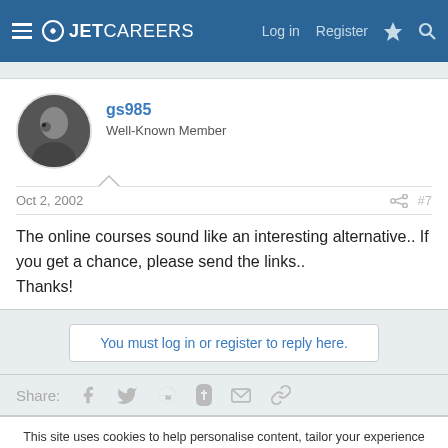JETCAREERS — Log in  Register
gs985
Well-Known Member
Oct 2, 2002  #7
The online courses sound like an interesting alternative.. If you get a chance, please send the links..
Thanks!
You must log in or register to reply here.
Share:
This site uses cookies to help personalise content, tailor your experience and to keep you logged in if you register.
By continuing to use this site, you are consenting to our use of cookies.